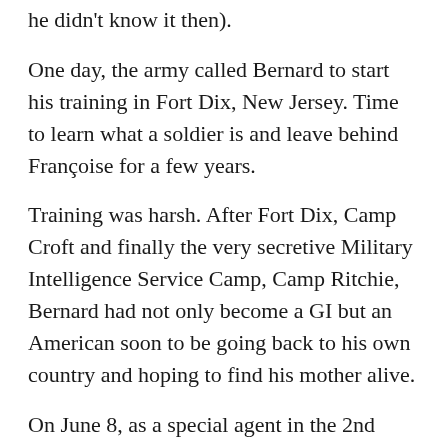he didn't know it then).
One day, the army called Bernard to start his training in Fort Dix, New Jersey. Time to learn what a soldier is and leave behind Françoise for a few years.
Training was harsh. After Fort Dix, Camp Croft and finally the very secretive Military Intelligence Service Camp, Camp Ritchie, Bernard had not only become a GI but an American soon to be going back to his own country and hoping to find his mother alive.
On June 8, as a special agent in the 2nd Infantry Division (the Indian Head), Bernard landed on Omaha Beach with his band of brothers. He was 24.
His mission consisted in interrogating French civilians. Hearing an American GI speak French with a parisian accent and his jeep « La Bastille » (name of his childhood neighborhood) was very surprising and emotional for French farmers who reckoned Bernard